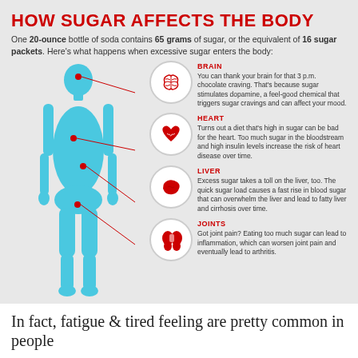HOW SUGAR AFFECTS THE BODY
One 20-ounce bottle of soda contains 65 grams of sugar, or the equivalent of 16 sugar packets. Here's what happens when excessive sugar enters the body:
[Figure (infographic): Human body silhouette (blue) with four organ highlights (brain, heart, liver, joints) connected by lines to circular icons and descriptive text on the right side.]
BRAIN: You can thank your brain for that 3 p.m. chocolate craving. That's because sugar stimulates dopamine, a feel-good chemical that triggers sugar cravings and can affect your mood.
HEART: Turns out a diet that's high in sugar can be bad for the heart. Too much sugar in the bloodstream and high insulin levels increase the risk of heart disease over time.
LIVER: Excess sugar takes a toll on the liver, too. The quick sugar load causes a fast rise in blood sugar that can overwhelm the liver and lead to fatty liver and cirrhosis over time.
JOINTS: Got joint pain? Eating too much sugar can lead to inflammation, which can worsen joint pain and eventually lead to arthritis.
In fact, fatigue & tired feeling are pretty common in people